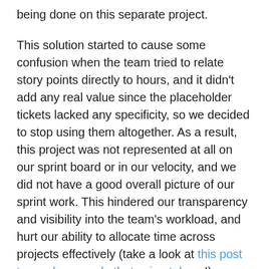being done on this separate project.

This solution started to cause some confusion when the team tried to relate story points directly to hours, and it didn't add any real value since the placeholder tickets lacked any specificity, so we decided to stop using them altogether. As a result, this project was not represented at all on our sprint board or in our velocity, and we did not have a good overall picture of our sprint work. This hindered our transparency and visibility into the team's workload, and hurt our ability to allocate time across projects effectively (take a look at this post to see how we do that using tokens!).